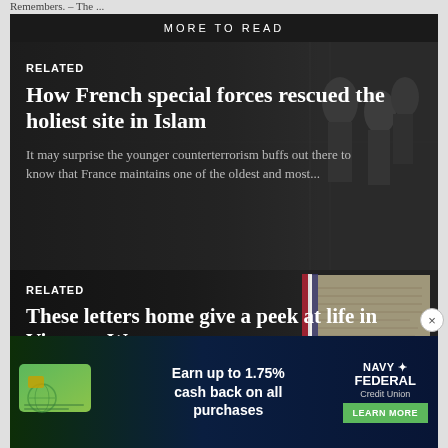Remembers. – The ...
MORE TO READ
RELATED
How French special forces rescued the holiest site in Islam
It may surprise the younger counterterrorism buffs out there to know that France maintains one of the oldest and most...
RELATED
These letters home give a peek at life in Vietnam War
Letters are a very personal and specific
[Figure (infographic): Navy Federal Credit Union advertisement. Green credit card image on left. Text: Earn up to 1.75% cash back on all purchases. Navy Federal Credit Union logo. Green LEARN MORE button.]